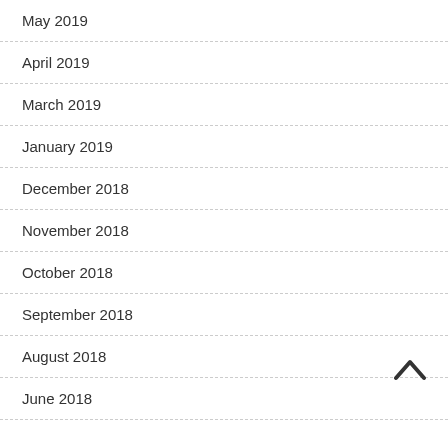May 2019
April 2019
March 2019
January 2019
December 2018
November 2018
October 2018
September 2018
August 2018
June 2018